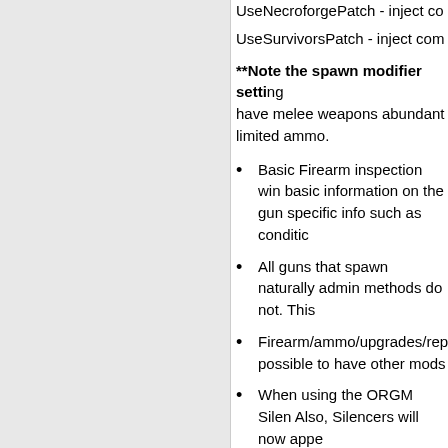UseNecroforgePatch - inject co
UseSurvivorsPatch - inject com
**Note the spawn modifier setting have melee weapons abundant limited ammo.
Basic Firearm inspection win basic information on the gun specific info such as conditic
All guns that spawn naturally admin methods do not. This
Firearm/ammo/upgrades/rep possible to have other mods
When using the ORGM Silen Also, Silencers will now appe
Item Spawning now obeys c
CZ75 Pistol is now a 9x19m listed as 15, while lua data h of 15 for the 9mm and 12 for
Taurus P38S is now a double
Browning BLR is now single